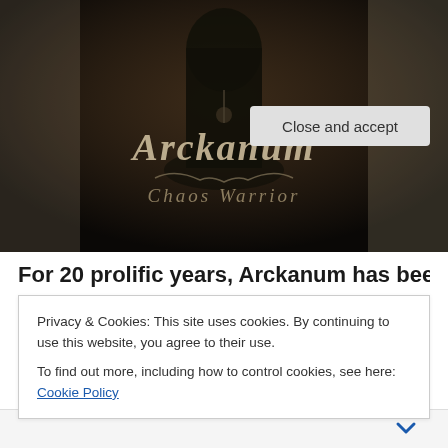[Figure (photo): Album cover for 'Chaos Warrior' by Arckanum. Dark sepia-toned image of a hooded figure with decorative metal band logo text 'Arckanum' in ornate style and subtitle 'Chaos Warrior' in gothic script below.]
For 20 prolific years, Arckanum has been a life
Privacy & Cookies: This site uses cookies. By continuing to use this website, you agree to their use.
To find out more, including how to control cookies, see here: Cookie Policy
Close and accept